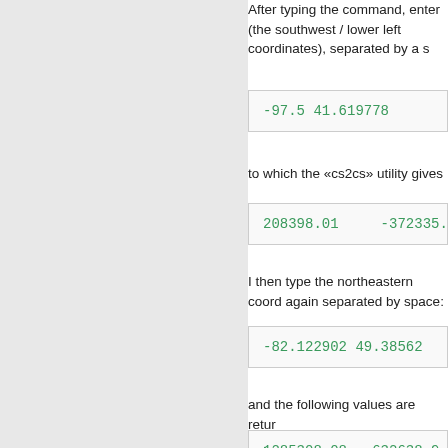After typing the command, enter (the southwest / lower left coordinates), separated by a space:
-97.5 41.619778
to which the «cs2cs» utility gives
208398.01    -372335.
I then type the northeastern coordinates, again separated by space:
-82.122902 49.38562
and the following values are returned:
1285308.08    632638.9
You will notice that «cs2cs» returns a third value, 0.000, as it means to Anyway, we can now present the
EXTENT 208398.01 -372335